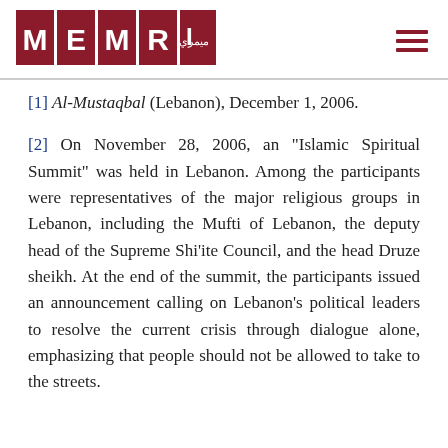MEMRI logo and navigation
[1] Al-Mustaqbal (Lebanon), December 1, 2006.
[2] On November 28, 2006, an "Islamic Spiritual Summit" was held in Lebanon. Among the participants were representatives of the major religious groups in Lebanon, including the Mufti of Lebanon, the deputy head of the Supreme Shi'ite Council, and the head Druze sheikh. At the end of the summit, the participants issued an announcement calling on Lebanon's political leaders to resolve the current crisis through dialogue alone, emphasizing that people should not be allowed to take to the streets.